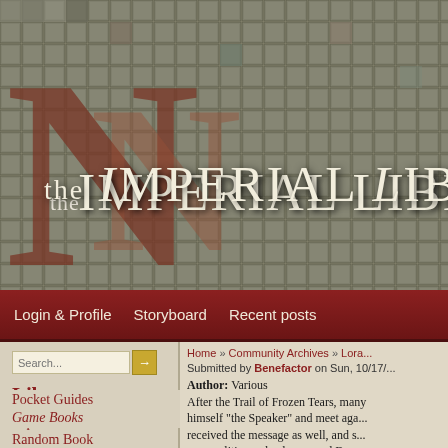[Figure (illustration): Mosaic stone tile banner background with large decorative N logo mark in dark red/brown and site title 'THE IMPERIAL LIBRARY' in off-white serif text]
THE IMPERIAL LIBRARY
Login & Profile   Storyboard   Recent posts
Search...
Library
Topics
Random Book
Help Desk
Pocket Guides
Game Books
Home » Community Archives » Lora...
Submitted by Benefactor on Sun, 10/17/...
Author: Various
After the Trail of Frozen Tears, many himself "the Speaker" and meet aga... received the message as well, and s... personalities and a dog named Dum...